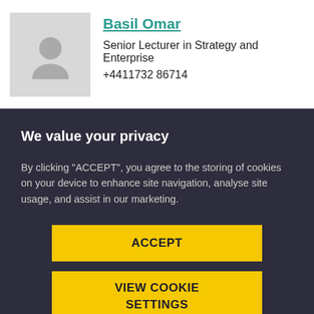[Figure (photo): Placeholder avatar silhouette image for Basil Omar]
Basil Omar
Senior Lecturer in Strategy and Enterprise
+4411732 86714
[Figure (photo): Partial photo of second person (Deepak Gopinath), partially obscured by cookie banner]
Deepak Gopinath
We value your privacy
By clicking “ACCEPT”, you agree to the storing of cookies on your device to enhance site navigation, analyse site usage, and assist in our marketing.
ACCEPT
VIEW COOKIE SETTINGS